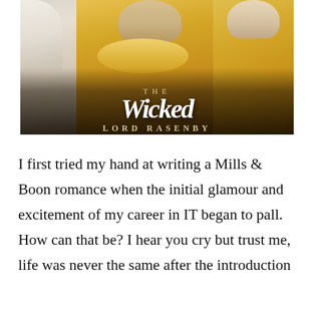[Figure (illustration): Book cover for 'The Wicked Lord Rasenby' showing Regency-era figures in period dress — golden/amber tones with a central woman in a gold gown — title text overlaid at the bottom.]
I first tried my hand at writing a Mills & Boon romance when the initial glamour and excitement of my career in IT began to pall. How can that be? I hear you cry but trust me, life was never the same after the introduction